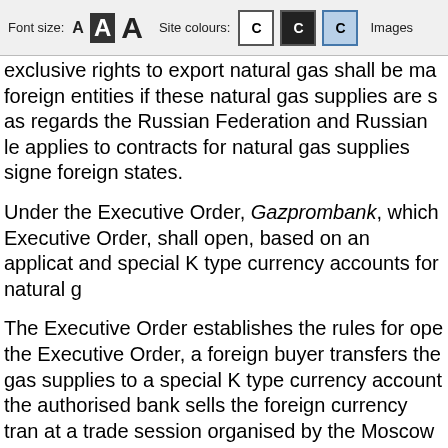Font size: A A A   Site colours: C C C   Images
exclusive rights to export natural gas shall be made foreign entities if these natural gas supplies are se as regards the Russian Federation and Russian le applies to contracts for natural gas supplies signe foreign states.
Under the Executive Order, Gazprombank, which Executive Order, shall open, based on an applicat and special K type currency accounts for natural g
The Executive Order establishes the rules for ope the Executive Order, a foreign buyer transfers the gas supplies to a special K type currency account the authorised bank sells the foreign currency tra at a trade session organised by the Moscow Interb the proceeds in rubles to the K type ruble account